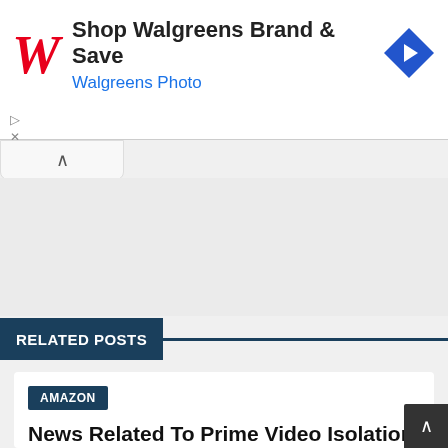[Figure (screenshot): Walgreens advertisement banner with red cursive W logo, text 'Shop Walgreens Brand & Save' and 'Walgreens Photo' in blue, and a blue diamond navigation icon on the right.]
RELATED POSTS
AMAZON
News Related To Prime Video Isolation new rules In India
Isolation…India…Prime…